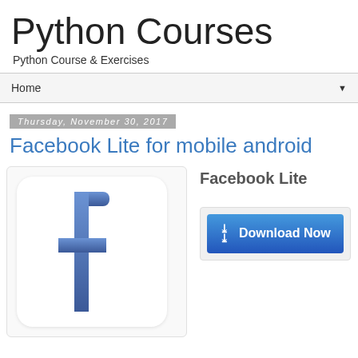Python Courses
Python Course & Exercises
Home
Thursday, November 30, 2017
Facebook Lite for mobile android
[Figure (logo): Facebook Lite app icon showing white rounded-rectangle with the Facebook 'f' logo in blue gradient]
Facebook Lite
[Figure (infographic): Blue Download Now button with downward chevron arrows icon]